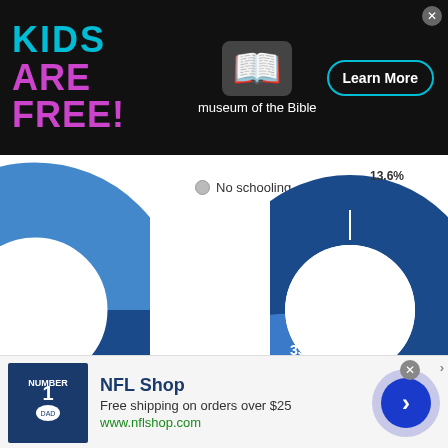[Figure (other): Advertisement banner: KIDS ARE FREE! museum of the Bible. Learn More button.]
[Figure (donut-chart): Partial donut chart on left showing 62.6% slice in dark blue]
No schooling
[Figure (donut-chart): Partial donut chart on right showing 33.2% and 13.6% slices in shades of blue]
Figure 7: Ilchester CDP, MD Bachelors Degrees Field of Study
ce & Engineering    Science and Engineering Related    Arts, Humanities, Other
[Figure (other): Advertisement banner: NFL Shop. Free shipping on orders over $25. www.nflshop.com]